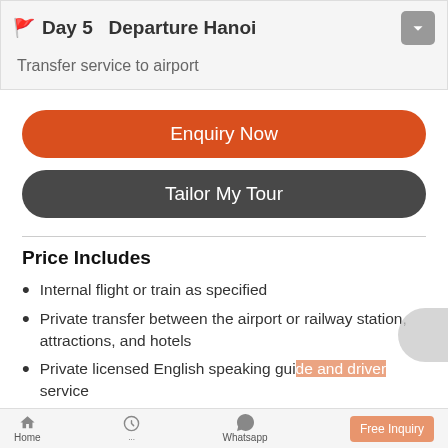Day 5   Departure Hanoi
Transfer service to airport
Enquiry Now
Tailor My Tour
Price Includes
Internal flight or train as specified
Private transfer between the airport or railway station, attractions, and hotels
Private licensed English speaking guide and driver service